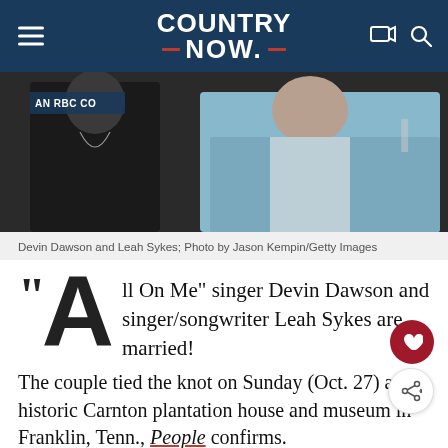COUNTRY NOW
[Figure (photo): Photo of Devin Dawson and Leah Sykes at an event, with an RBC banner visible in the background. Dawson wears black, Sykes wears a light blue jacket.]
Devin Dawson and Leah Sykes; Photo by Jason Kempin/Getty Images
“All On Me” singer Devin Dawson and singer/songwriter Leah Sykes are married!
The couple tied the knot on Sunday (Oct. 27) at the historic Carnton plantation house and museum in Franklin, Tenn., People confirms.